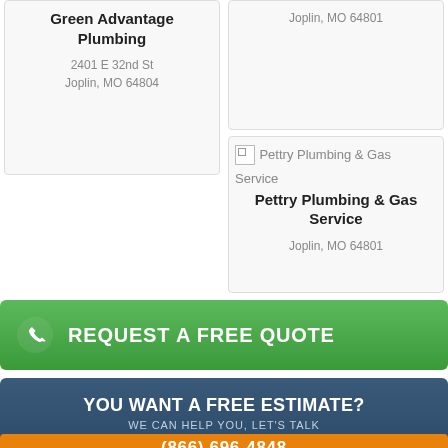Green Advantage Plumbing
2401 E 32nd St
Joplin, MO 64804
Joplin, MO 64801
Pettry Plumbing & Gas Service
Joplin, MO 64801
REQUEST A FREE QUOTE
YOU WANT A FREE ESTIMATE?
WE CAN HELP YOU, LET'S TALK
(866) 696-4848